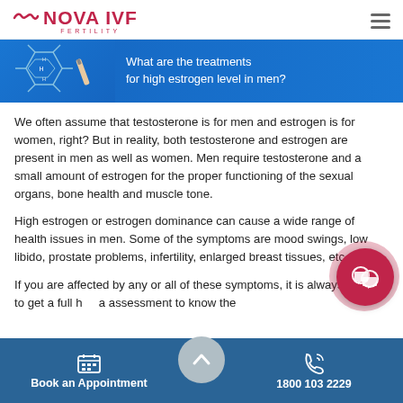NOVA IVF FERTILITY
[Figure (illustration): Blue banner showing a hand drawing a molecular/chemical structure on the left, with white text on the right reading 'What are the treatments for high estrogen level in men?']
We often assume that testosterone is for men and estrogen is for women, right? But in reality, both testosterone and estrogen are present in men as well as women. Men require testosterone and a small amount of estrogen for the proper functioning of the sexual organs, bone health and muscle tone.
High estrogen or estrogen dominance can cause a wide range of health issues in men. Some of the symptoms are mood swings, low libido, prostate problems, infertility, enlarged breast tissues, etc.
If you are affected by any or all of these symptoms, it is always better to get a full h a assessment to know the
Book an Appointment    1800 103 2229